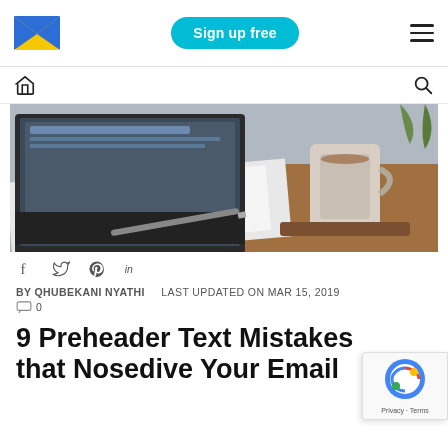Sendinblue — Sign up free — Menu
[Figure (screenshot): Navigation bar with home icon and search icon]
[Figure (photo): Laptop on desk with notebook and pen, mug of coffee on wooden board in background]
[Figure (infographic): Social sharing icons: Facebook, Twitter, Pinterest, LinkedIn]
BY QHUBEKANI NYATHI   LAST UPDATED ON MAR 15, 2019   [comment icon] 0
9 Preheader Text Mistakes that Nosedive Your Email